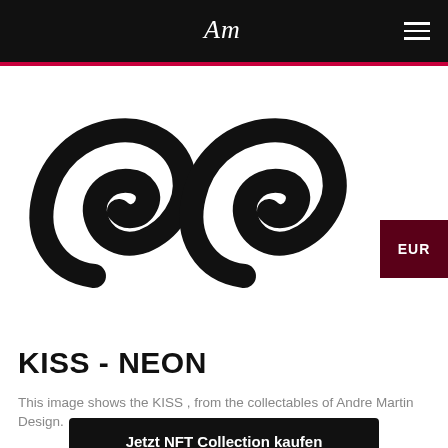AM (logo) | hamburger menu
[Figure (illustration): Large black brush-stroke abstract artwork showing two curved swirling shapes resembling the letters 'ss' or a kiss symbol on white background]
KISS - NEON
This image shows the KISS , from the collectables of Andre Martin Design.
Jetzt NFT Collection kaufen